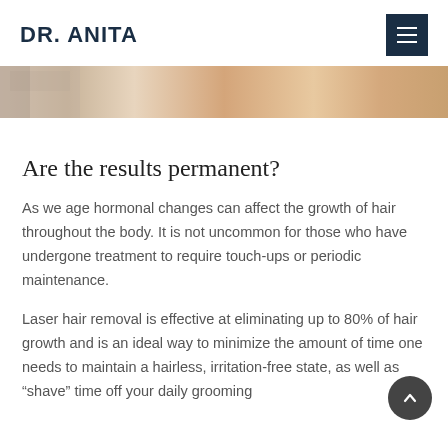DR. ANITA
[Figure (photo): Partial close-up photo of skin/body area, warm beige/skin tones, cropped banner]
Are the results permanent?
As we age hormonal changes can affect the growth of hair throughout the body. It is not uncommon for those who have undergone treatment to require touch-ups or periodic maintenance.
Laser hair removal is effective at eliminating up to 80% of hair growth and is an ideal way to minimize the amount of time one needs to maintain a hairless, irritation-free state, as well as “shave” time off your daily grooming